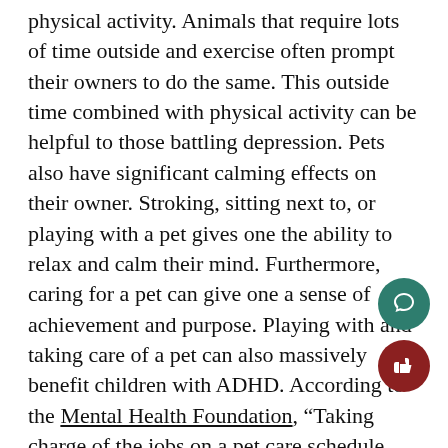physical activity. Animals that require lots of time outside and exercise often prompt their owners to do the same. This outside time combined with physical activity can be helpful to those battling depression. Pets also have significant calming effects on their owner. Stroking, sitting next to, or playing with a pet gives one the ability to relax and calm their mind. Furthermore, caring for a pet can give one a sense of achievement and purpose. Playing with and taking care of a pet can also massively benefit children with ADHD. According to the Mental Health Foundation, “Taking charge of the jobs on a pet care schedule, such as feeding, walking and bathing, helps a child learn to plan and be responsible.” These children can also release excess energy by taking a walk with their pet or playing with them outside